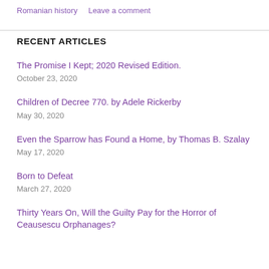Romanian history   Leave a comment
RECENT ARTICLES
The Promise I Kept; 2020 Revised Edition.
October 23, 2020
Children of Decree 770. by Adele Rickerby
May 30, 2020
Even the Sparrow has Found a Home, by Thomas B. Szalay
May 17, 2020
Born to Defeat
March 27, 2020
Thirty Years On, Will the Guilty Pay for the Horror of Ceausescu Orphanages?